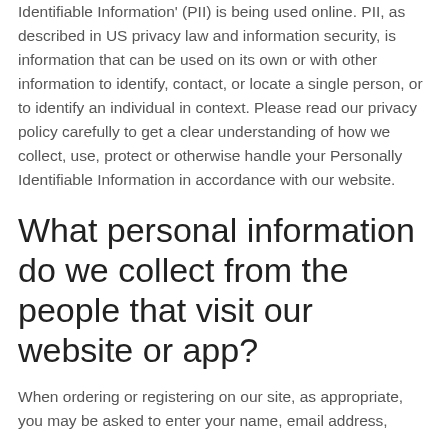Identifiable Information' (PII) is being used online. PII, as described in US privacy law and information security, is information that can be used on its own or with other information to identify, contact, or locate a single person, or to identify an individual in context. Please read our privacy policy carefully to get a clear understanding of how we collect, use, protect or otherwise handle your Personally Identifiable Information in accordance with our website.
What personal information do we collect from the people that visit our website or app?
When ordering or registering on our site, as appropriate, you may be asked to enter your name, email address,